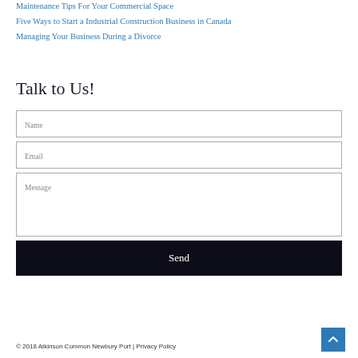Maintenance Tips For Your Commercial Space
Five Ways to Start a Industrial Construction Business in Canada
Managing Your Business During a Divorce
Talk to Us!
Name
Email
Message
Send
© 2018 Atkinson Common Newbury Port | Privacy Policy